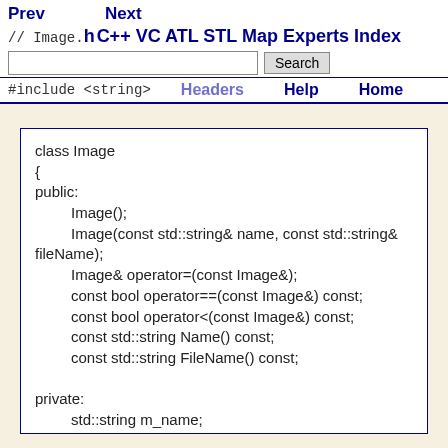Prev   Next   // Image.h C++ VC ATL STL Map Experts Index   [Search]   #include <string>   Headers   Help   Home
class Image
{
public:
    Image();
    Image(const std::string& name, const std::string& fileName);
    Image& operator=(const Image&);
    const bool operator==(const Image&) const;
    const bool operator<(const Image&) const;
    const std::string Name() const;
    const std::string FileName() const;

private:
    std::string m_name;
    std::string m_fileName;
};